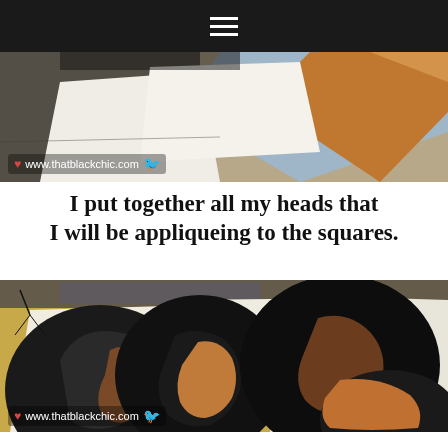≡ (navigation menu)
[Figure (photo): Top photo showing colorful fabric or paper pieces with geometric shapes in orange, black, and light blue/grey tones, with watermark www.thatblackchic.com]
I put together all my heads that I will be appliqueing to the squares.
[Figure (photo): Bottom photo showing silhouette head cutouts arranged on a surface, depicting stylized women's profiles in black, brown, and orange tones, with watermark www.thatblackchic.com]